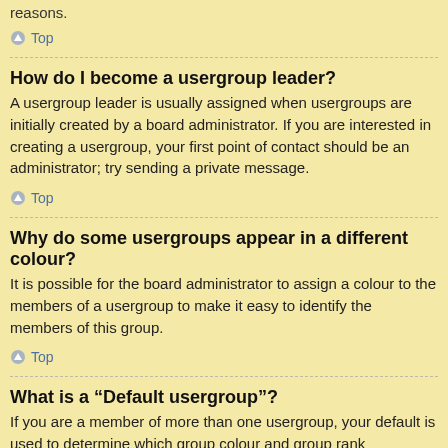reasons.
⌃ Top
How do I become a usergroup leader?
A usergroup leader is usually assigned when usergroups are initially created by a board administrator. If you are interested in creating a usergroup, your first point of contact should be an administrator; try sending a private message.
⌃ Top
Why do some usergroups appear in a different colour?
It is possible for the board administrator to assign a colour to the members of a usergroup to make it easy to identify the members of this group.
⌃ Top
What is a “Default usergroup”?
If you are a member of more than one usergroup, your default is used to determine which group colour and group rank